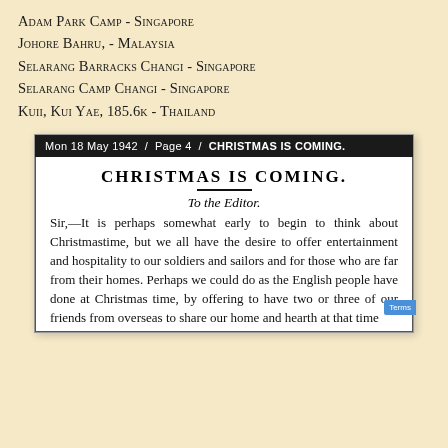Adam Park Camp - Singapore
Johore Bahru, - Malaysia
Selarang Barracks Changi - Singapore
Selarang Camp Changi - Singapore
Kuii, Kui Yae, 185.6k - Thailand
Mon 18 May 1942 / Page 4 / CHRISTMAS IS COMING.
CHRISTMAS IS COMING.
To the Editor.
Sir,—It is perhaps somewhat early to begin to think about Christmas-time, but we all have the desire to offer entertainment and hospitality to our soldiers and sailors and for those who are far from their homes. Perhaps we could do as the English people have done at Christmas time, by offering to have two or three of our friends from overseas to share our home and hearth at that time